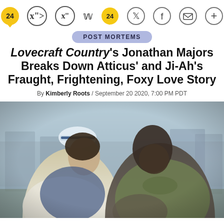24 (comments) | Twitter | Facebook | Email | +
POST MORTEMS
Lovecraft Country's Jonathan Majors Breaks Down Atticus' and Ji-Ah's Fraught, Frightening, Foxy Love Story
By Kimberly Roots / September 20 2020, 7:00 PM PDT
[Figure (photo): Two actors facing each other in a dramatic scene. A woman in a nurse uniform with a white cap (left) and a man in an olive jacket (right) in what appears to be an outdoor Korean War-era setting with blurred buildings in the background.]